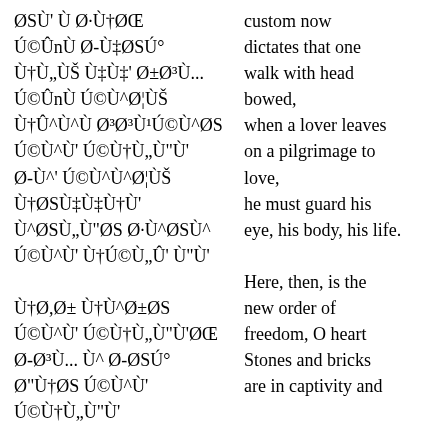ØSÙ' Ù Ø·Ù†ØŒ Ú©Ûn Ø-Ù‡ØSÚ° Ù†Ù„ÙŠ Ù‡Ù' Ø±Ø³Ù... Ú©Ûn Ú©Ù^Ø¦ÙŠ Ù†ØSÙ‡Ù†Ù' Ø•ÙŠ Û^Ø·Û^Ù^ØS Ú©Ù^Ù' Ù†Ú©Ù„Û' / custom now dictates that one walk with head bowed, when a lover leaves on a pilgrimage to love, he must guard his eye, his body, his life. / Here, then, is the new order of freedom, O heart Stones and bricks are in captivity and